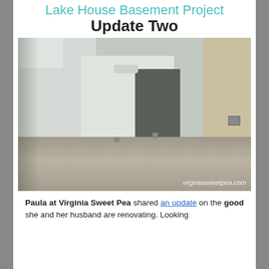Lake House Basement Project Update Two
[Figure (photo): Interior photo of a basement renovation in progress, showing drywall, a closet opening, and bare concrete/carpet floor. Watermark reads virginisweetpea.com]
Paula at Virginia Sweet Pea shared an update on the good she and her husband are renovating. Looking